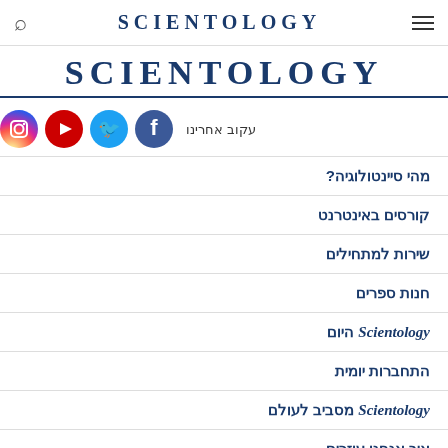Scientology (nav bar with search icon, logo, hamburger menu)
SCIENTOLOGY
עקוב אחרינו (Follow us) - social media icons: Instagram, YouTube, Twitter, Facebook
מהי סיינטולוגיה?
קורסים באינטרנט
שירות למתחילים
חנות ספרים
Scientology היום
התחברות יומית
Scientology מסביב לעולם
איך אנחנו עוזרים